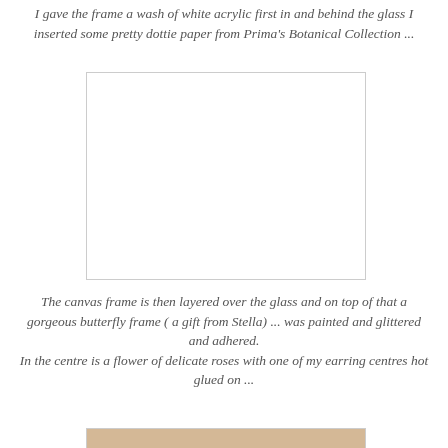I gave the frame a wash of white acrylic first in and behind the glass I inserted some pretty dottie paper from Prima's Botanical Collection ...
[Figure (photo): White rectangular image placeholder / empty white canvas frame area with a thin grey border]
The canvas frame is then layered over the glass and on top of that a gorgeous butterfly frame ( a gift from Stella) ... was painted and glittered and adhered.
In the centre is a flower of delicate roses with one of my earring centres hot glued on ...
[Figure (photo): Partial photograph showing a warm beige/tan craft item, likely a decorated frame or floral arrangement]